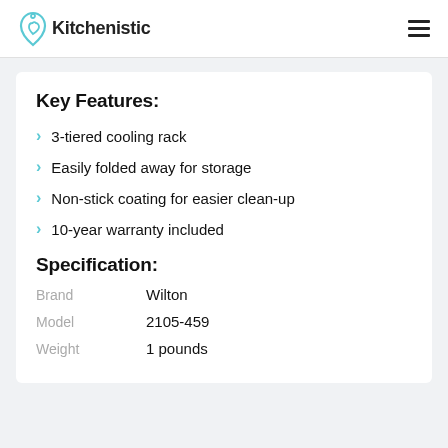Kitchenistic
Key Features:
3-tiered cooling rack
Easily folded away for storage
Non-stick coating for easier clean-up
10-year warranty included
Specification:
| Label | Value |
| --- | --- |
| Brand | Wilton |
| Model | 2105-459 |
| Weight | 1 pounds |